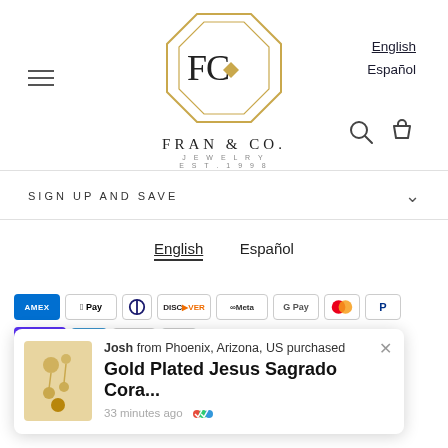[Figure (logo): Fran & Co. Jewelry logo — octagonal gold frame with FC monogram and gem, text FRAN & CO. JEWELRY EST.1998]
English
Español
SIGN UP AND SAVE
English  Español
[Figure (infographic): Payment method icons: AMEX, Apple Pay, Diners Club, Discover, Meta Pay, Google Pay, Mastercard, PayPal, ShopPay, Venmo, Visa, Afterpay]
[Figure (infographic): Purchase notification popup: Josh from Phoenix, Arizona, US purchased Gold Plated Jesus Sagrado Cora... 33 minutes ago]